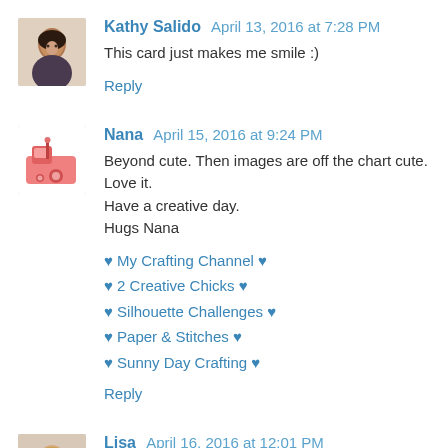[Figure (photo): Avatar photo of Kathy Salido - woman with dark hair]
Kathy Salido April 13, 2016 at 7:28 PM
This card just makes me smile :)
Reply
[Figure (illustration): Avatar image of Nana - pink sewing machine illustration]
Nana April 15, 2016 at 9:24 PM
Beyond cute. Then images are off the chart cute. Love it. Have a creative day.
Hugs Nana
♥ My Crafting Channel ♥
♥ 2 Creative Chicks ♥
♥ Silhouette Challenges ♥
♥ Paper & Stitches ♥
♥ Sunny Day Crafting ♥
Reply
[Figure (photo): Avatar photo of Lisa - woman with blonde hair]
Lisa April 16, 2016 at 12:01 PM
This is so sweet!! I love the adorable scene you've created!! The gnome is too cute!! I love the fairy!! Fabulous